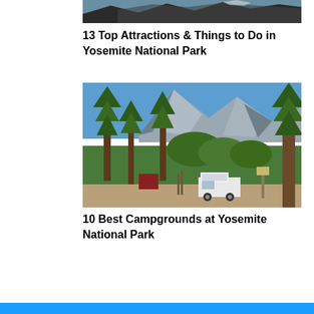[Figure (photo): Partial landscape/nature photo at top of page, cropped]
13 Top Attractions & Things to Do in Yosemite National Park
[Figure (photo): Campground scene at Yosemite National Park with tall pine trees, granite mountain in background, white camper van parked on dirt road]
10 Best Campgrounds at Yosemite National Park
[Figure (other): Blue bar at bottom of page]